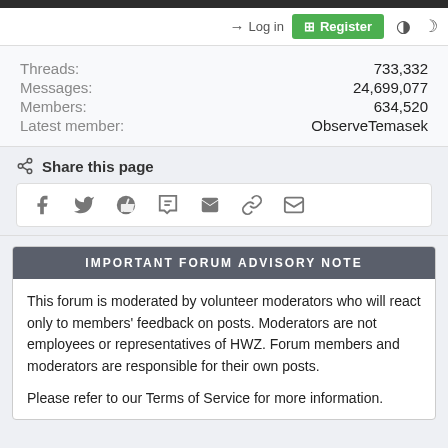→ Log in  ⊞ Register
| Label | Value |
| --- | --- |
| Threads: | 733,332 |
| Messages: | 24,699,077 |
| Members: | 634,520 |
| Latest member: | ObserveTemasek |
Share this page
[Figure (infographic): Social share icons: Facebook, Twitter, Reddit, Pinterest, Tumblr, WhatsApp, Email, Link]
IMPORTANT FORUM ADVISORY NOTE
This forum is moderated by volunteer moderators who will react only to members' feedback on posts. Moderators are not employees or representatives of HWZ. Forum members and moderators are responsible for their own posts.

Please refer to our Terms of Service for more information.